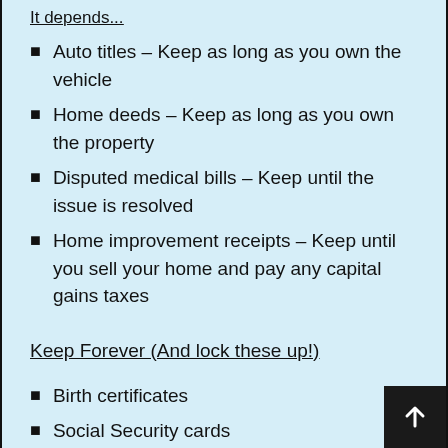It depends...
Auto titles – Keep as long as you own the vehicle
Home deeds – Keep as long as you own the property
Disputed medical bills – Keep until the issue is resolved
Home improvement receipts – Keep until you sell your home and pay any capital gains taxes
Keep Forever (And lock these up!)
Birth certificates
Social Security cards
Marriage or divorce decrees